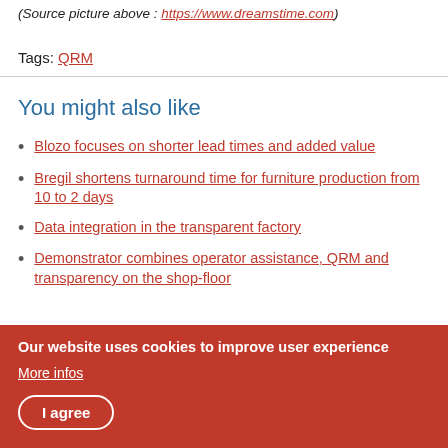(Source picture above : https://www.dreamstime.com)
Tags: QRM
You might also like
Blozo focuses on shorter lead times and added value
Bregil shortens turnaround time for furniture production from 10 to 2 days
Data integration in the transparent factory
Demonstrator combines operator assistance, QRM and transparency on the shop-floor
Our website uses cookies to improve user experience
More infos
I agree